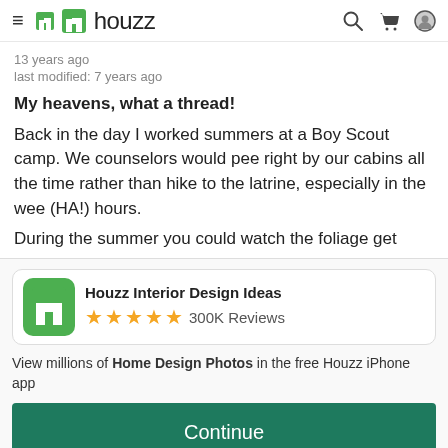houzz
13 years ago
last modified: 7 years ago
My heavens, what a thread!

Back in the day I worked summers at a Boy Scout camp. We counselors would pee right by our cabins all the time rather than hike to the latrine, especially in the wee (HA!) hours.

During the summer you could watch the foliage get
[Figure (screenshot): Houzz app promo card with green Houzz logo icon, app name 'Houzz Interior Design Ideas', 5 gold stars, and '300K Reviews']
View millions of Home Design Photos in the free Houzz iPhone app
Continue
Go to Mobile Site